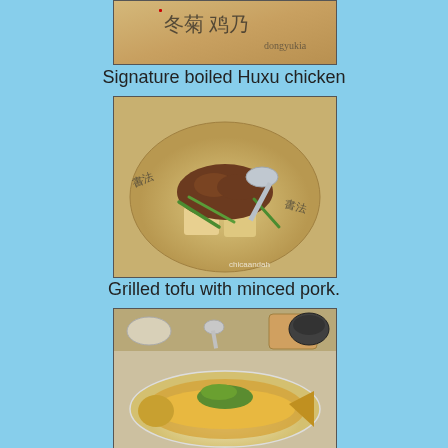[Figure (photo): Photo of Signature boiled Huxu chicken dish on a decorative plate with Chinese calligraphy]
Signature boiled Huxu chicken
[Figure (photo): Photo of grilled tofu with minced pork served on a decorative plate with Chinese calligraphy, with a spoon resting on top]
Grilled tofu with minced pork.
[Figure (photo): Photo of a whole steamed fish dish with garnish on a white plate, with other dishes visible in the background]